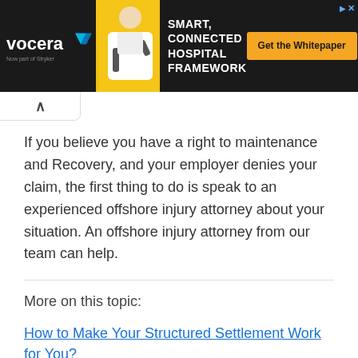[Figure (screenshot): Advertisement banner for Vocera: Smart, Connected Hospital Framework with a 'Get the Whitepaper' call-to-action button on dark background, showing a person in white coat on yellow background.]
If you believe you have a right to maintenance and Recovery, and your employer denies your claim, the first thing to do is speak to an experienced offshore injury attorney about your situation. An offshore injury attorney from our team can help.
More on this topic:
How to Make Your Structured Settlement Work for You?
Subscribe to Cupertinotimes